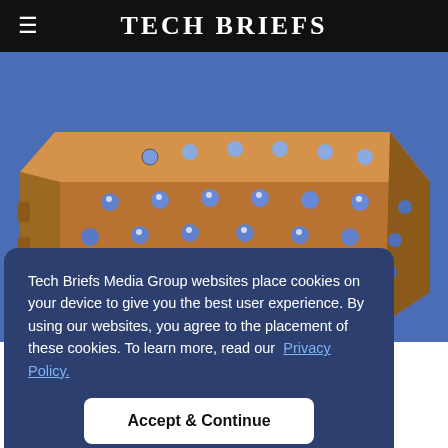Tech Briefs
[Figure (photo): A metallic electronic component or waveguide module with multiple screw-type connectors/stud caps arranged in a grid pattern on a copper/bronze colored rectangular housing, photographed against a blue background.]
Tech Briefs Media Group websites place cookies on your device to give you the best user experience. By using our websites, you agree to the placement of these cookies. To learn more, read our Privacy Policy.
Accept & Continue
n the test. A WR-10 waveguide input port is on the left end. The output